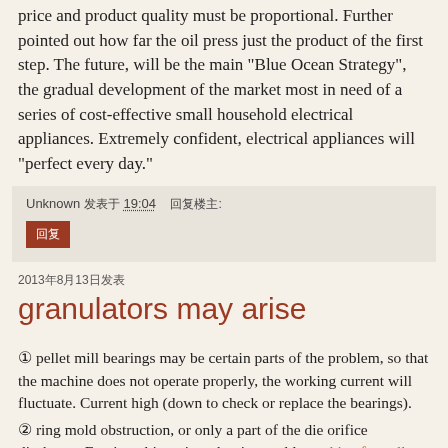price and product quality must be proportional. Further pointed out how far the oil press just the product of the first step. The future, will be the main "Blue Ocean Strategy", the gradual development of the market most in need of a series of cost-effective small household electrical appliances. Extremely confident, electrical appliances will "perfect every day."
Unknown 发表于 19:04   回复楼主:
回复
2013年8月13日发表
granulators may arise
① pellet mill bearings may be certain parts of the problem, so that the machine does not operate properly, the working current will fluctuate. Current high (down to check or replace the bearings).
② ring mold obstruction, or only a part of the die orifice discharge. Foreign objects into the ring mold, machine for pellets , the